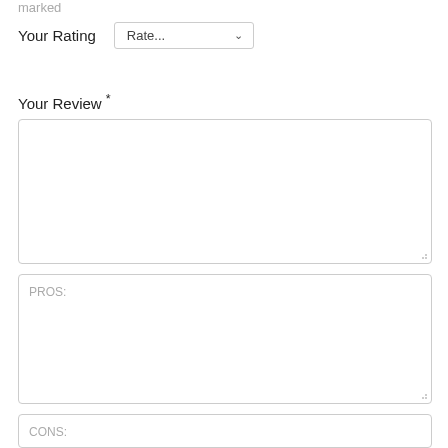marked
Your Rating
Rate...
Your Review *
PROS:
CONS: